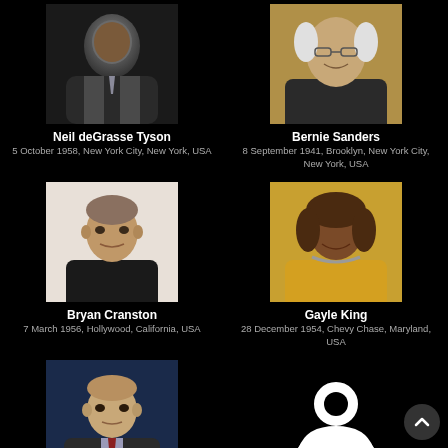[Figure (photo): Photo of Neil deGrasse Tyson in suit]
Neil deGrasse Tyson
5 October 1958, New York City, New York, USA
[Figure (photo): Photo of Bernie Sanders smiling]
Bernie Sanders
8 September 1941, Brooklyn, New York City, New York, USA
[Figure (photo): Photo of Bryan Cranston]
Bryan Cranston
7 March 1956, Hollywood, California, USA
[Figure (photo): Photo of Gayle King]
Gayle King
28 December 1954, Chevy Chase, Maryland, USA
[Figure (photo): Photo of Jake Tapper]
Jake Tapper
12 March 1969, New York City, New York, USA
[Figure (illustration): Generic profile placeholder icon for John Dickerson]
John Dickerson